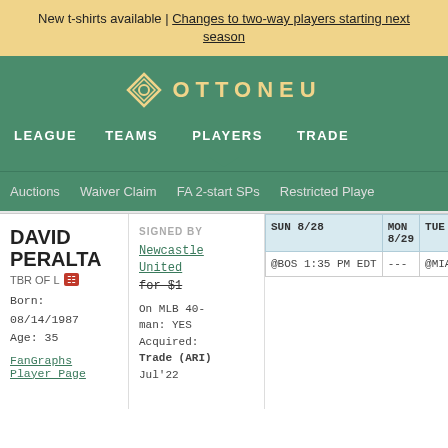New t-shirts available | Changes to two-way players starting next season
[Figure (logo): Ottoneu logo with diamond/gear icon and text OTTONEU in gold]
LEAGUE  TEAMS  PLAYERS  TRADE
Auctions  Waiver Claim  FA 2-start SPs  Restricted Playe
DAVID PERALTA
TBR OF L
Born: 08/14/1987
Age: 35
FanGraphs Player Page
SIGNED BY
Newcastle United
for $1
On MLB 40-man: YES
Acquired: Trade (ARI) Jul'22
| SUN 8/28 | MON 8/29 | TUE 8/30 |
| --- | --- | --- |
| @BOS 1:35 PM EDT | --- | @MIA 6:40 PM ED |